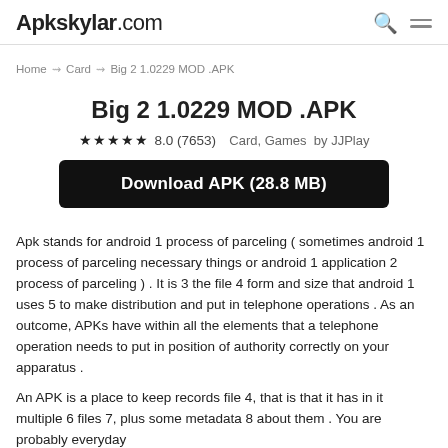Apkskylar.com
Home → Card → Big 2 1.0229 MOD .APK
Big 2 1.0229 MOD .APK
★★★★★8.0 (7653)  Card, Games  by JJPlay
Download APK (28.8 MB)
Apk stands for android 1 process of parceling ( sometimes android 1 process of parceling necessary things or android 1 application 2 process of parceling ) . It is 3 the file 4 form and size that android 1 uses 5 to make distribution and put in telephone operations . As an outcome, APKs have within all the elements that a telephone operation needs to put in position of authority correctly on your apparatus .
An APK is a place to keep records file 4, that is that it has in it multiple 6 files 7, plus some metadata 8 about them . You are probably everyday